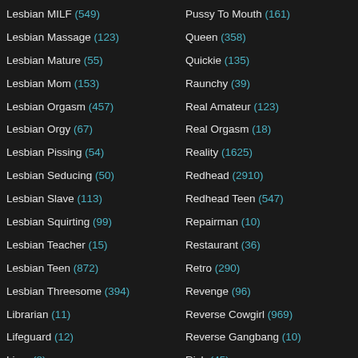Lesbian MILF (549)
Lesbian Massage (123)
Lesbian Mature (55)
Lesbian Mom (153)
Lesbian Orgasm (457)
Lesbian Orgy (67)
Lesbian Pissing (54)
Lesbian Seducing (50)
Lesbian Slave (113)
Lesbian Squirting (99)
Lesbian Teacher (15)
Lesbian Teen (872)
Lesbian Threesome (394)
Librarian (11)
Lifeguard (12)
Limo (8)
Pussy To Mouth (161)
Queen (358)
Quickie (135)
Raunchy (39)
Real Amateur (123)
Real Orgasm (18)
Reality (1625)
Redhead (2910)
Redhead Teen (547)
Repairman (10)
Restaurant (36)
Retro (290)
Revenge (96)
Reverse Cowgirl (969)
Reverse Gangbang (10)
Rich (45)